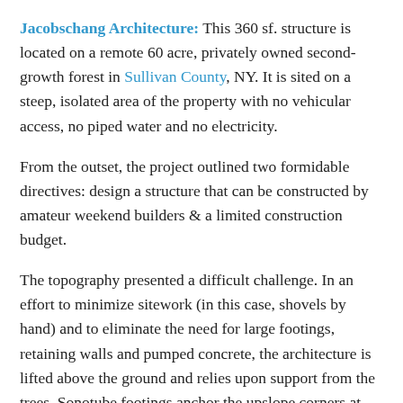Jacobschang Architecture: This 360 sf. structure is located on a remote 60 acre, privately owned second-growth forest in Sullivan County, NY. It is sited on a steep, isolated area of the property with no vehicular access, no piped water and no electricity.
From the outset, the project outlined two formidable directives: design a structure that can be constructed by amateur weekend builders & a limited construction budget.
The topography presented a difficult challenge. In an effort to minimize sitework (in this case, shovels by hand) and to eliminate the need for large footings, retaining walls and pumped concrete, the architecture is lifted above the ground and relies upon support from the trees. Sonotube footings anchor the upslope corners at grade while half of the weight of the structure is distributed, via Garnier Limbs, to two existing trees.